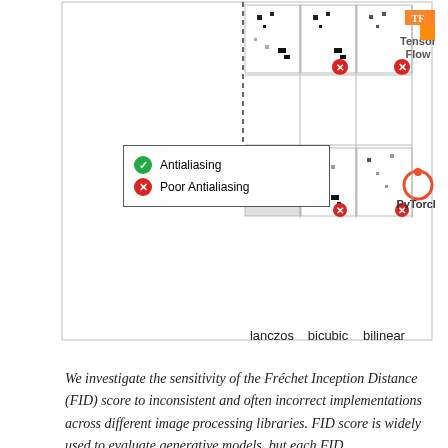[Figure (other): Comparison grid of image resampling methods (lanczos, bicubic, bilinear) across frameworks (TensorFlow, PyTorch) with antialiasing legend. Green checkmarks indicate proper antialiasing, red X marks indicate poor antialiasing. PyTorch lanczos shows 'not implemented'.]
We investigate the sensitivity of the Fréchet Inception Distance (FID) score to inconsistent and often incorrect implementations across different image processing libraries. FID score is widely used to evaluate generative models, but each FID implementation uses a different low-level image processing process. Image resizing functions in commonly-used deep learning libraries often introduce aliasing artifacts. We observe that numerous subtle choices need to be made for FID calculation and a lack of consistencies in these choices can lead to vastly different FID scores. In particular, we